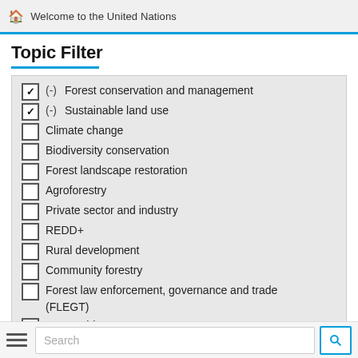Welcome to the United Nations
Topic Filter
(-) Forest conservation and management (checked)
(-) Sustainable land use (checked)
Climate change
Biodiversity conservation
Forest landscape restoration
Agroforestry
Private sector and industry
REDD+
Rural development
Community forestry
Forest law enforcement, governance and trade (FLEGT)
Renewable energy